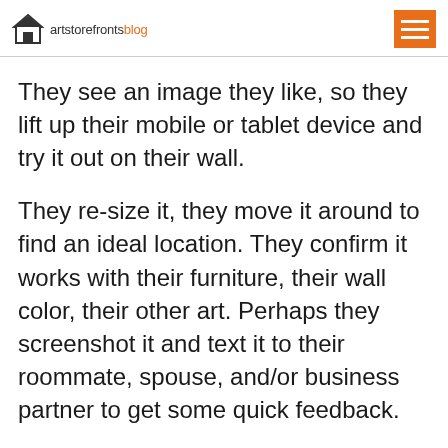artstorefronts blog
They see an image they like, so they lift up their mobile or tablet device and try it out on their wall.
They re-size it, they move it around to find an ideal location. They confirm it works with their furniture, their wall color, their other art. Perhaps they screenshot it and text it to their roommate, spouse, and/or business partner to get some quick feedback.